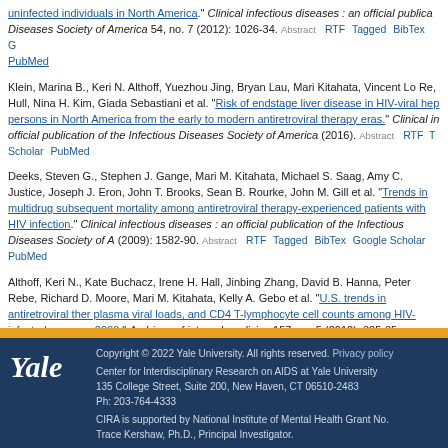uninfected individuals in North America." Clinical infectious diseases : an official publication of the Infectious Diseases Society of America 54, no. 7 (2012): 1026-34. Abstract RTF Tagged BibTex Google Scholar PubMed
Klein, Marina B., Keri N. Althoff, Yuezhou Jing, Bryan Lau, Mari Kitahata, Vincent Lo Re, Hull, Nina H. Kim, Giada Sebastiani et al. "Risk of endstage liver disease in HIV-viral hep persons in North America from the early to modern antiretroviral therapy eras." Clinical in official publication of the Infectious Diseases Society of America (2016). Abstract RTF Tagged Google Scholar PubMed
Deeks, Steven G., Stephen J. Gange, Mari M. Kitahata, Michael S. Saag, Amy C. Justice, Joseph J. Eron, John T. Brooks, Sean B. Rourke, John M. Gill et al. "Trends in multidrug subsequent mortality among antiretroviral therapy-experienced patients with HIV infection." Clinical infectious diseases : an official publication of the Infectious Diseases Society of America (2009): 1582-90. Abstract RTF Tagged BibTex Google Scholar PubMed
Althoff, Keri N., Kate Buchacz, Irene H. Hall, Jinbing Zhang, David B. Hanna, Peter Rebe, Richard D. Moore, Mari M. Kitahata, Kelly A. Gebo et al. "U.S. trends in antiretroviral therapy, plasma viral loads, and CD4 T-lymphocyte cell counts among HIV-infected persons, 2000-..." Archives of internal medicine 157, no. 5 (2012): 325-35. Abstract RTF Tagged BibTex Google Scholar
Copyright © 2022 Yale University. All rights reserved. Privacy policy
Center for Interdisciplinary Research on AIDS at Yale University
135 College Street, Suite 200, New Haven, CT 06510-2483
Ph: 203-764-4333
CIRA is supported by National Institute of Mental Health Grant No.
Trace Kershaw, Ph.D., Principal Investigator.